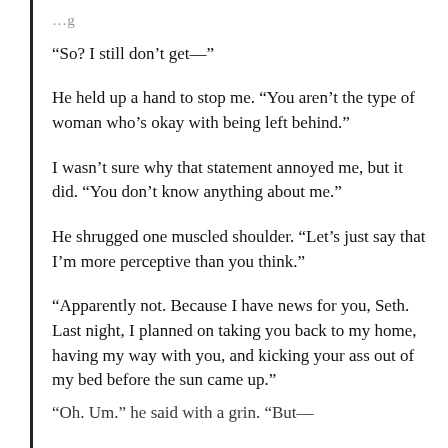“So? I still don’t get—”
He held up a hand to stop me. “You aren’t the type of woman who’s okay with being left behind.”
I wasn’t sure why that statement annoyed me, but it did. “You don’t know anything about me.”
He shrugged one muscled shoulder. “Let’s just say that I’m more perceptive than you think.”
“Apparently not. Because I have news for you, Seth. Last night, I planned on taking you back to my home, having my way with you, and kicking your ass out of my bed before the sun came up.”
“Oh. Um.” he said with a grin. “But—